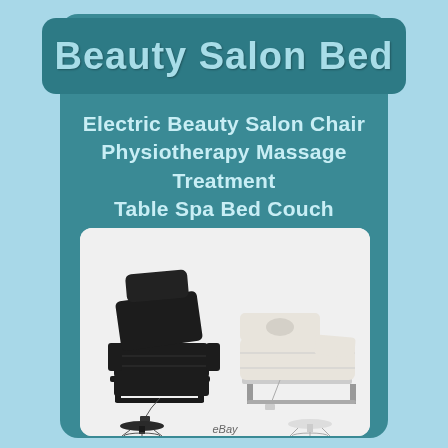Beauty Salon Bed
Electric Beauty Salon Chair Physiotherapy Massage Treatment Table Spa Bed Couch
[Figure (photo): Two electric beauty salon chairs/massage treatment tables — one black (left, in chair/reclined position with stool) and one white (right, in flat table position with stool). Both shown with attached control cables and adjustable stools underneath.]
eBay